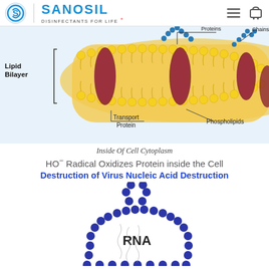SANOSIL DISINFECTANTS FOR LIFE
[Figure (illustration): Cross-section diagram of a cell membrane (Lipid Bilayer) showing Transport Protein, Phospholipids, Proteins, and Chains labels with detailed illustration of the bilayer structure with yellow phospholipids and red/maroon transmembrane proteins and blue chain decorations.]
Inside Of Cell Cytoplasm
HO⁻ Radical Oxidizes Protein inside the Cell
Destruction of Virus Nucleic Acid Destruction
[Figure (illustration): Diagram of a virus RNA structure showing dark blue beaded strands forming a cage/loop shape with RNA label inside and wispy strands representing RNA within the structure.]